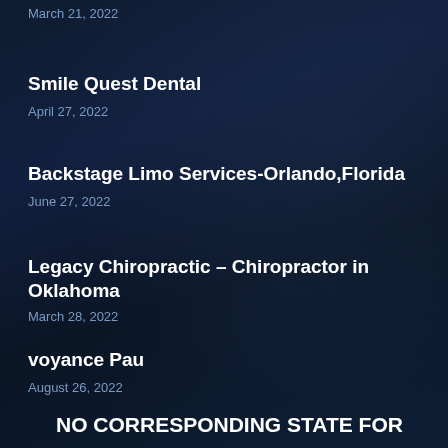March 21, 2022
Smile Quest Dental
April 27, 2022
Backstage Limo Services-Orlando,Florida
June 27, 2022
Legacy Chiropractic – Chiropractor in Oklahoma
March 28, 2022
voyance Pau
August 26, 2022
NO CORRESPONDING STATE FOR